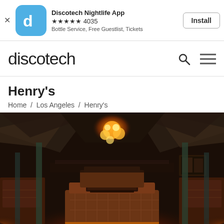[Figure (screenshot): App store ad banner for Discotech Nightlife App with blue icon, 5 stars rating of 4035 reviews, subtitle 'Bottle Service, Free Guestlist, Tickets', and Install button]
[Figure (logo): Discotech website navigation bar with logo text 'discotech', search icon, and hamburger menu icon]
Henry's
Home / Los Angeles / Henry's
[Figure (photo): Dark interior nightclub/lounge photo of Henry's showing warm orange ambient lighting, booth seating, geometric ceiling panels, and a central chandelier]